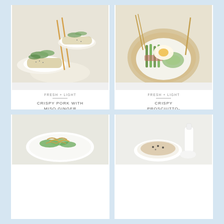[Figure (photo): Top-down view of two bowls of noodles with greens and chopsticks on a white surface]
FRESH + LIGHT
CRISPY PORK WITH MISO GINGER SOBA NOODLES
[Figure (photo): Plate of crispy prosciutto-wrapped asparagus with poached eggs and avocado smash on a wooden board]
FRESH + LIGHT
CRISPY PROSCIUTTO-WRAPPED ASPARAGUS WITH POACHED EGGS AND AVO SMASH
[Figure (photo): Plate of green vegetables with crispy noodles on a white plate]
[Figure (photo): Bowl of grains/porridge with a small milk bottle on a white surface]